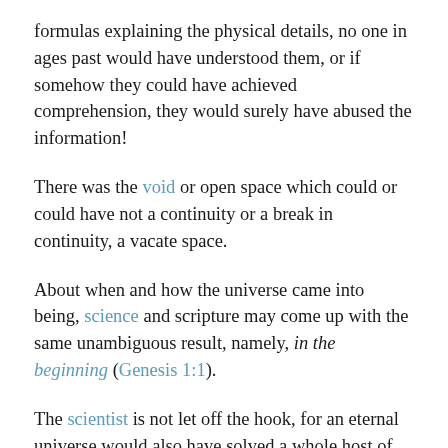formulas explaining the physical details, no one in ages past would have understood them, or if somehow they could have achieved comprehension, they would surely have abused the information!
There was the void or open space which could or could have not a continuity or a break in continuity, a vacate space.
About when and how the universe came into being, science and scripture may come up with the same unambiguous result, namely, in the beginning (Genesis 1:1).
The scientist is not let off the hook, for an eternal universe would also have solved a whole host of scientific problems. According to the model pictured by